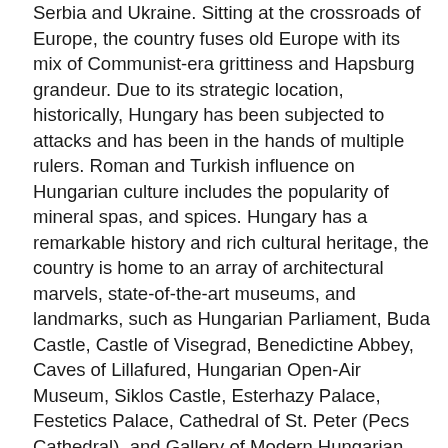Serbia and Ukraine. Sitting at the crossroads of Europe, the country fuses old Europe with its mix of Communist-era grittiness and Hapsburg grandeur. Due to its strategic location, historically, Hungary has been subjected to attacks and has been in the hands of multiple rulers. Roman and Turkish influence on Hungarian culture includes the popularity of mineral spas, and spices. Hungary has a remarkable history and rich cultural heritage, the country is home to an array of architectural marvels, state-of-the-art museums, and landmarks, such as Hungarian Parliament, Buda Castle, Castle of Visegrad, Benedictine Abbey, Caves of Lillafured, Hungarian Open-Air Museum, Siklos Castle, Esterhazy Palace, Festetics Palace, Cathedral of St. Peter (Pecs Cathedral), and Gallery of Modern Hungarian Art. The cosmopolitan country has retained its traditions of winemaking, classical music, and Hungarians have also revived their elegant, Vienna-style cafe culture. Capital city Budapest is among Europe's top tourist destinations but there is much to explore beyond. Szentendre, Sopron, Szeged, Debrecen and Pecs are towns steeped in Hungarian culture. Nature lovers can explore Aggtelek National Park (UNESCO World Heritage Site), Szalajka Valley, Gaja Ravine, Lake Balaton and Matra and more Mountain lakes.